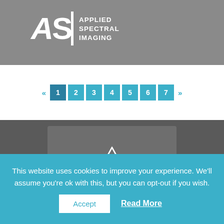[Figure (logo): Applied Spectral Imaging logo with ASI letters and full text 'APPLIED SPECTRAL IMAGING' on gray header background]
[Figure (infographic): Hamburger menu icon (three horizontal lines) on gray header]
[Figure (infographic): Pagination navigation with arrows and page numbers 1-7, page 1 highlighted in darker teal]
[Figure (infographic): Paper airplane / send icon in white outline on dark gray background]
Sign up for our
NEWSLETTER
This website uses cookies to improve your experience. We'll assume you're ok with this, but you can opt-out if you wish.
Accept
Read More